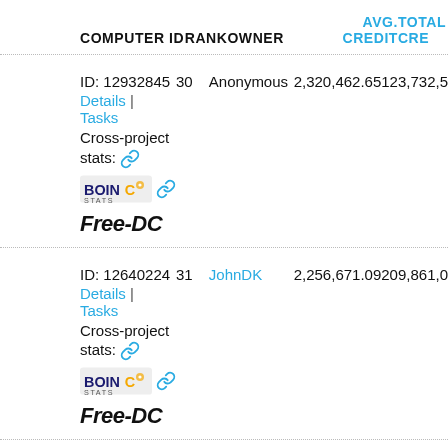| COMPUTER ID | RANK | OWNER | AVG. CREDIT | TOTAL CRE... |
| --- | --- | --- | --- | --- |
| ID: 12932845
Details | Tasks
Cross-project stats: [link]
[BOINC Stats logo][link]
[Free-DC logo] | 30 | Anonymous | 2,320,462.65 | 123,732,5... |
| ID: 12640224
Details | Tasks
Cross-project stats: [link]
[BOINC Stats logo][link]
[Free-DC logo] | 31 | JohnDK | 2,256,671.09 | 209,861,0... |